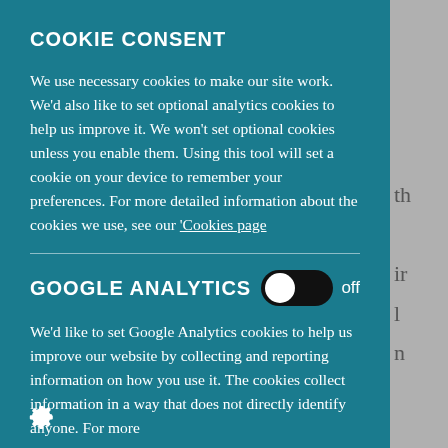COOKIE CONSENT
We use necessary cookies to make our site work. We'd also like to set optional analytics cookies to help us improve it. We won't set optional cookies unless you enable them. Using this tool will set a cookie on your device to remember your preferences. For more detailed information about the cookies we use, see our 'Cookies page
GOOGLE ANALYTICS
We'd like to set Google Analytics cookies to help us improve our website by collecting and reporting information on how you use it. The cookies collect information in a way that does not directly identify anyone. For more